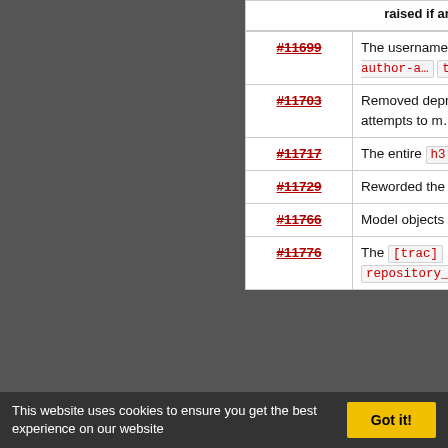| Ticket | Description |
| --- | --- |
| #11699 | The usernames in the default timeline are wrapped in span s with author, trac-author-a…, trac-author-none. |
| #11703 | Removed deprecated [tra… repository_dir configuration upgrade step attempts to migrate configuration for the default repository into the [repositories] sec… |
| #11717 | The entire h3 is highlighted to a ticket comment, rather than the enclosed span. |
| #11729 | Reworded the timeline filter… |
| #11766 | Model objects now use their … as part of their repr e.g. Wi… u'StartPage@5'>. |
| #11776 | The [trac] repository_sync_per_r… |
This website uses cookies to ensure you get the best experience on our website